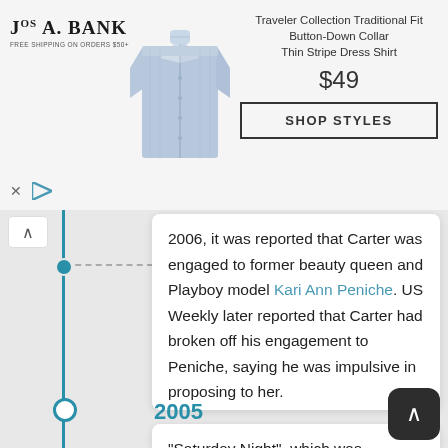[Figure (advertisement): Jos. A. Bank ad showing a Traveler Collection Traditional Fit Button-Down Collar Thin Stripe Dress Shirt for $49 with a Shop Styles button and shirt photo]
2006, it was reported that Carter was engaged to former beauty queen and Playboy model Kari Ann Peniche. US Weekly later reported that Carter had broken off his engagement to Peniche, saying he was impulsive in proposing to her.
2005
"Saturday Night", which was released on March 22, 2005, and was promoted by Carter during his summer 2005 Remix